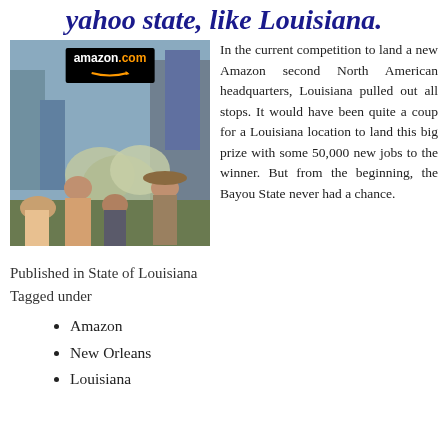yahoo  state, like Louisiana.
[Figure (photo): Photo of Beverly Hillbillies characters composited in front of Amazon headquarters (spheres), with amazon.com logo overlay. Four people: a blonde woman, a tall young man, an older man in cap, and an older man in wide-brim hat.]
In the current competition to land a new Amazon second North American headquarters, Louisiana pulled out all stops.  It would have been quite a coup for a Louisiana location to land this big prize with some 50,000 new jobs to the winner.  But from the beginning, the Bayou State never had a chance.
Published in State of Louisiana
Tagged under
Amazon
New Orleans
Louisiana